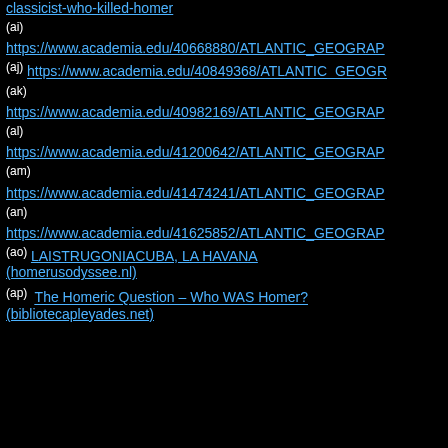classicist-who-killed-homer
(ai) https://www.academia.edu/40668880/ATLANTIC_GEOGRAP
(aj) https://www.academia.edu/40849368/ATLANTIC_GEOGR
(ak) https://www.academia.edu/40982169/ATLANTIC_GEOGRAP
(al) https://www.academia.edu/41200642/ATLANTIC_GEOGRAP
(am) https://www.academia.edu/41474241/ATLANTIC_GEOGRAP
(an) https://www.academia.edu/41625852/ATLANTIC_GEOGRAP
(ao) LAISTRUGONIACUBA, LA HAVANA (homerusodyssee.nl)
(ap) The Homeric Question – Who WAS Homer? (bibliotecapleyades.net)